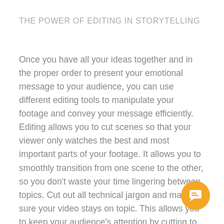THE POWER OF EDITING IN STORYTELLING
Once you have all your ideas together and in the proper order to present your emotional message to your audience, you can use different editing tools to manipulate your footage and convey your message efficiently. Editing allows you to cut scenes so that your viewer only watches the best and most important parts of your footage. It allows you to smoothly transition from one scene to the other, so you don't waste your time lingering between topics. Cut out all technical jargon and make sure your video stays on topic. This allows you to keep your audience's attention by cutting to the most relevant information.
While most editing will appear seamless and make